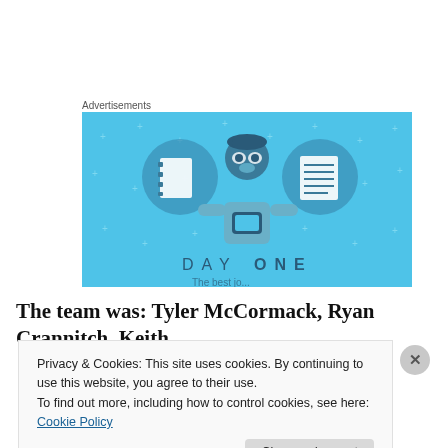Advertisements
[Figure (illustration): Day One app advertisement with blue background showing a cartoon person holding a phone, flanked by two circular icons representing notebook and lined paper. Text reads 'DAY ONE' at the bottom.]
The team was: Tyler McCormack, Ryan Crannitch, Keith
Privacy & Cookies: This site uses cookies. By continuing to use this website, you agree to their use.
To find out more, including how to control cookies, see here: Cookie Policy
Close and accept